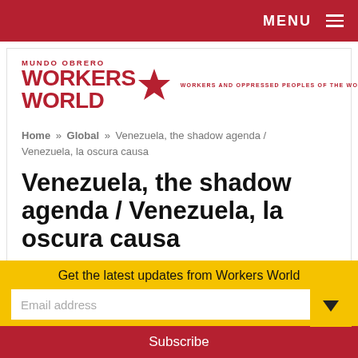MENU
[Figure (logo): Workers World / Mundo Obrero logo with red star and tagline: Workers and Oppressed Peoples of the World Unite]
Home » Global » Venezuela, the shadow agenda / Venezuela, la oscura causa
Venezuela, the shadow agenda / Venezuela, la oscura causa
By Cheryl LaBash posted on March 6, 2018
Get the latest updates from Workers World
Email address
Subscribe